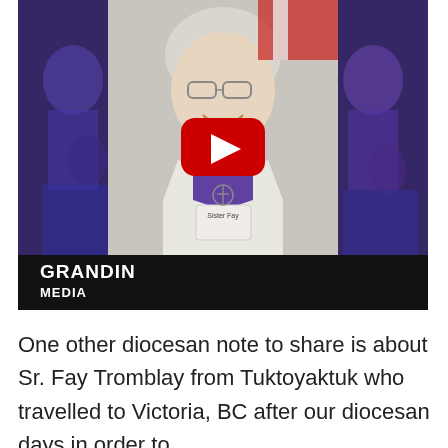[Figure (screenshot): YouTube video thumbnail showing Sr. Fay Tromblay, an elderly woman with short white hair and glasses, wearing a white jacket over a purple top with a name badge reading 'Sister Fay' and a Celtic cross necklace. The thumbnail has purple-tinted side panels with overlaid images. A YouTube play button (red rectangle with white triangle) is centered. Bottom left shows 'GRANDIN MEDIA' text. A black bar runs along the bottom of the thumbnail.]
One other diocesan note to share is about Sr. Fay Tromblay from Tuktoyaktuk who travelled to Victoria, BC after our diocesan days in order to